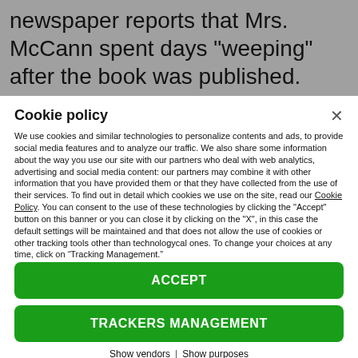newspaper reports that Mrs. McCann spent days "weeping" after the book was published. They
Cookie policy
We use cookies and similar technologies to personalize contents and ads, to provide social media features and to analyze our traffic. We also share some information about the way you use our site with our partners who deal with web analytics, advertising and social media content: our partners may combine it with other information that you have provided them or that they have collected from the use of their services. To find out in detail which cookies we use on the site, read our Cookie Policy. You can consent to the use of these technologies by clicking the "Accept" button on this banner or you can close it by clicking on the "X", in this case the default settings will be maintained and that does not allow the use of cookies or other tracking tools other than technologycal ones. To change your choices at any time, click on “Tracking Management.”
ACCEPT
TRACKERS MANAGEMENT
Show vendors | Show purposes